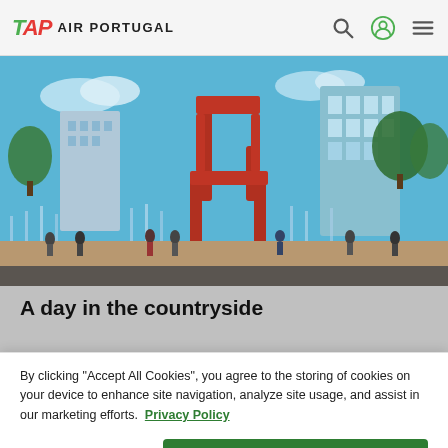TAP AIR PORTUGAL
[Figure (photo): Outdoor plaza with a large red three-legged chair sculpture, fountains, people, and modern glass buildings in the background under a blue sky.]
A day in the countryside
By clicking "Accept All Cookies", you agree to the storing of cookies on your device to enhance site navigation, analyze site usage, and assist in our marketing efforts. Privacy Policy
Cookies Settings | Accept All Cookies